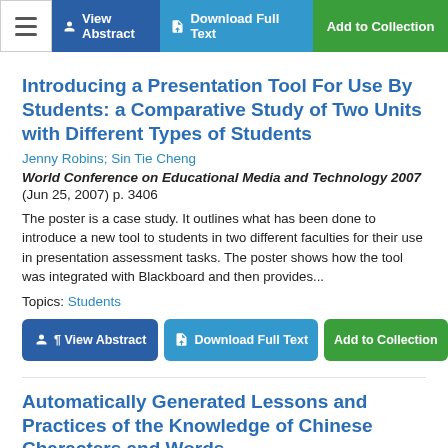[Figure (screenshot): Top navigation bar with menu icon, View Abstract (blue), Download Full Text (teal), Add to Collection (green) buttons]
Introducing a Presentation Tool For Use By Students: a Comparative Study of Two Units with Different Types of Students
Jenny Robins; Sin Tie Cheng
World Conference on Educational Media and Technology 2007
(Jun 25, 2007) p. 3406
The poster is a case study. It outlines what has been done to introduce a new tool to students in two different faculties for their use in presentation assessment tasks. The poster shows how the tool was integrated with Blackboard and then provides...
Topics: Students
[Figure (screenshot): Action buttons row: View Abstract (blue), Download Full Text (teal), Add to Collection (green)]
Automatically Generated Lessons and Practices of the Knowledge of Chinese Characters and Words